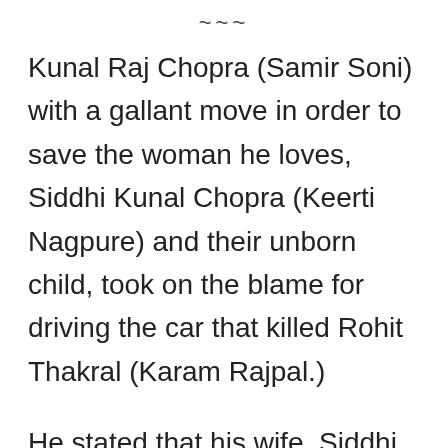~~~
Kunal Raj Chopra (Samir Soni) with a gallant move in order to save the woman he loves, Siddhi Kunal Chopra (Keerti Nagpure) and their unborn child, took on the blame for driving the car that killed Rohit Thakral (Karam Rajpal.)
He stated that his wife, Siddhi was not the one at the wheel but it was he that